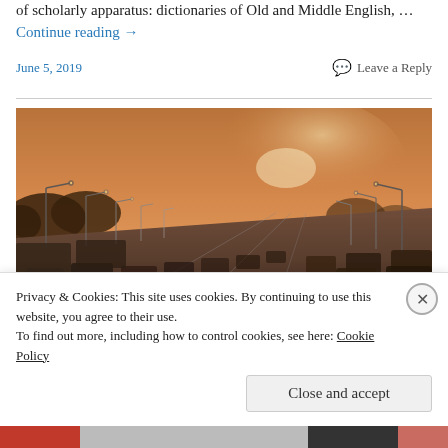of scholarly apparatus: dictionaries of Old and Middle English, … Continue reading →
June 5, 2019    Leave a Reply
[Figure (photo): A busy highway with many lanes of traffic at sunset/dusk, lined with tall street lamps on both sides, with warm orange hazy light.]
Privacy & Cookies: This site uses cookies. By continuing to use this website, you agree to their use.
To find out more, including how to control cookies, see here: Cookie Policy
Close and accept